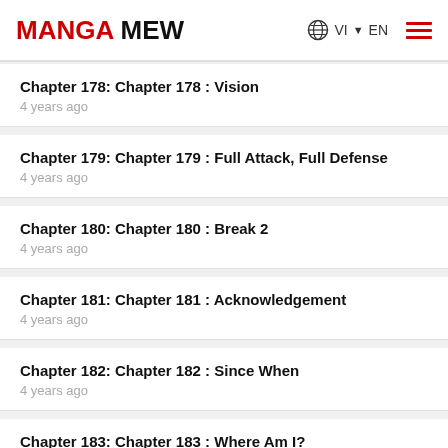MANGA MEW  VI EN
Chapter 178: Chapter 178 : Vision
4 years ago
Chapter 179: Chapter 179 : Full Attack, Full Defense
4 years ago
Chapter 180: Chapter 180 : Break 2
4 years ago
Chapter 181: Chapter 181 : Acknowledgement
4 years ago
Chapter 182: Chapter 182 : Since When
4 years ago
Chapter 183: Chapter 183 : Where Am I?
4 years ago